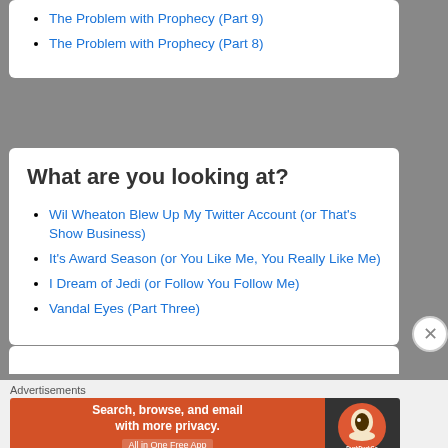The Problem with Prophecy (Part 9)
The Problem with Prophecy (Part 8)
What are you looking at?
Wil Wheaton Blew Up My Twitter Account (or That's Show Business)
It's Award Season (or You Like Me, You Really Like Me)
I Dream of Jedi (or Follow You Follow Me)
Vandal Eyes (Part Three)
Advertisements
[Figure (infographic): DuckDuckGo advertisement banner: Search, browse, and email with more privacy. All in One Free App. Orange background with DuckDuckGo logo on dark right panel.]